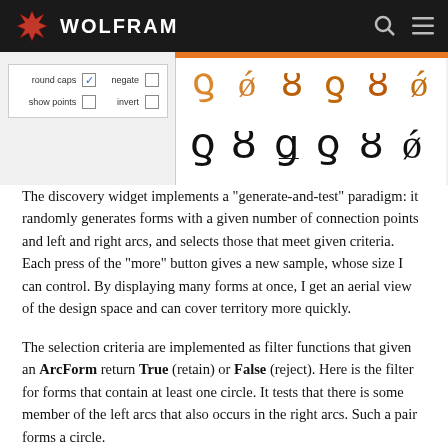WOLFRAM
[Figure (screenshot): Wolfram widget interface showing checkboxes for 'round caps', 'negate', 'show points', 'invert' alongside a display of decorative calligraphic arc forms/glyphs]
The discovery widget implements a “generate-and-test” paradigm: it randomly generates forms with a given number of connection points and left and right arcs, and selects those that meet given criteria. Each press of the “more” button gives a new sample, whose size I can control. By displaying many forms at once, I get an aerial view of the design space and can cover territory more quickly.
The selection criteria are implemented as filter functions that given an ArcForm return True (retain) or False (reject). Here is the filter for forms that contain at least one circle. It tests that there is some member of the left arcs that also occurs in the right arcs. Such a pair forms a circle.